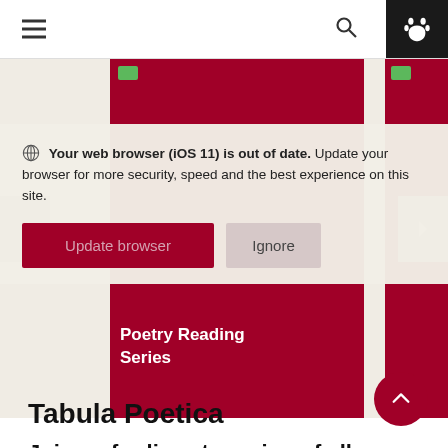[Figure (screenshot): Website navigation bar with hamburger menu icon on the left, search icon in the center-right, and a dark paw icon button on the far right]
[Figure (screenshot): Browser outdated warning banner overlaid on red card carousel: globe icon followed by bold text 'Your web browser (iOS 11) is out of date.' then 'Update your browser for more security, speed and the best experience on this site.' with 'Update browser' (dark red button) and 'Ignore' (gray button) below]
Poetry Reading Series
Tabula Poetica
Join us for live streaming of all our